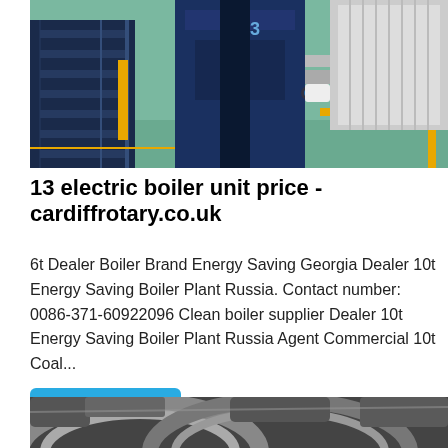[Figure (photo): Industrial boiler equipment in a factory setting with blue metal structure, stairs, piping, and yellow gas pipes]
13 electric boiler unit price - cardiffrotary.co.uk
6t Dealer Boiler Brand Energy Saving Georgia Dealer 10t Energy Saving Boiler Plant Russia. Contact number: 0086-371-60922096 Clean boiler supplier Dealer 10t Energy Saving Boiler Plant Russia Agent Commercial 10t Coal...
Get Price
[Figure (photo): Industrial ductwork or ventilation systems in a building interior, viewed from below, showing grey metallic ducts.]